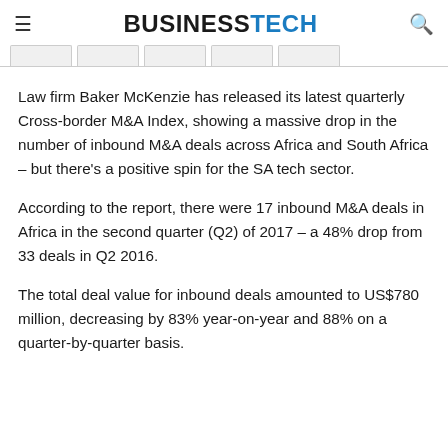BUSINESSTECH
Law firm Baker McKenzie has released its latest quarterly Cross-border M&A Index, showing a massive drop in the number of inbound M&A deals across Africa and South Africa – but there's a positive spin for the SA tech sector.
According to the report, there were 17 inbound M&A deals in Africa in the second quarter (Q2) of 2017 – a 48% drop from 33 deals in Q2 2016.
The total deal value for inbound deals amounted to US$780 million, decreasing by 83% year-on-year and 88% on a quarter-by-quarter basis.